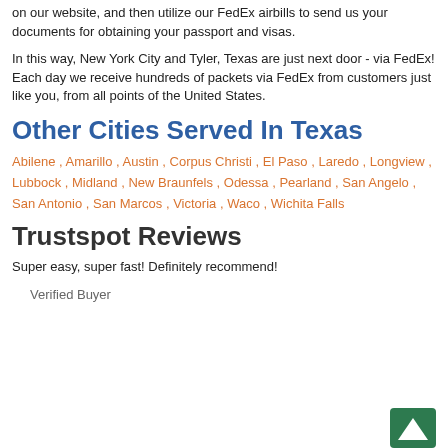on our website, and then utilize our FedEx airbills to send us your documents for obtaining your passport and visas.
In this way, New York City and Tyler, Texas are just next door - via FedEx! Each day we receive hundreds of packets via FedEx from customers just like you, from all points of the United States.
Other Cities Served In Texas
Abilene , Amarillo , Austin , Corpus Christi , El Paso , Laredo , Longview , Lubbock , Midland , New Braunfels , Odessa , Pearland , San Angelo , San Antonio , San Marcos , Victoria , Waco , Wichita Falls
Trustspot Reviews
Super easy, super fast! Definitely recommend!
Verified Buyer